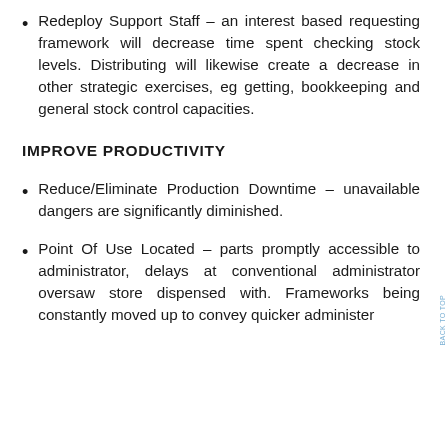Redeploy Support Staff – an interest based requesting framework will decrease time spent checking stock levels. Distributing will likewise create a decrease in other strategic exercises, eg getting, bookkeeping and general stock control capacities.
IMPROVE PRODUCTIVITY
Reduce/Eliminate Production Downtime – unavailable dangers are significantly diminished.
Point Of Use Located – parts promptly accessible to administrator, delays at conventional administrator oversaw store dispensed with. Frameworks being constantly moved up to convey quicker administer